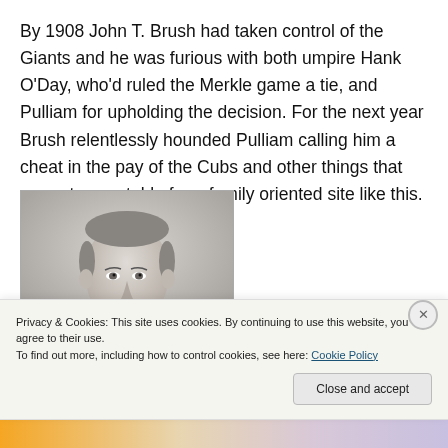By 1908 John T. Brush had taken control of the Giants and he was furious with both umpire Hank O'Day, who'd ruled the Merkle game a tie, and Pulliam for upholding the decision. For the next year Brush relentlessly hounded Pulliam calling him a cheat in the pay of the Cubs and other things that are not acceptable for a family oriented site like this.
[Figure (photo): Black and white portrait photograph of a man, cropped at the shoulders, facing slightly to the right]
Privacy & Cookies: This site uses cookies. By continuing to use this website, you agree to their use.
To find out more, including how to control cookies, see here: Cookie Policy
Close and accept